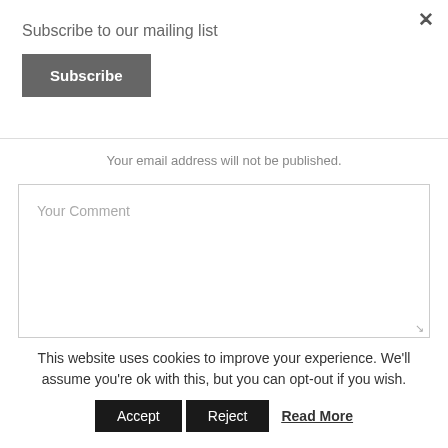×
Subscribe to our mailing list
Subscribe
Your email address will not be published.
Your Comment
This website uses cookies to improve your experience. We'll assume you're ok with this, but you can opt-out if you wish.
Accept
Reject
Read More